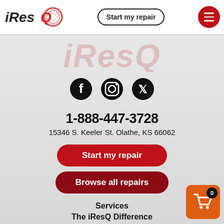[Figure (logo): iResQ company logo with stylized red circular Q mark]
Start my repair
[Figure (illustration): Large watermark iResQ text in faded red italic font]
[Figure (illustration): Social media icons: Facebook, Instagram, Twitter]
1-888-447-3728
15346 S. Keeler St. Olathe, KS 66062
Start my repair
Browse all repairs
Services
The iResQ Difference